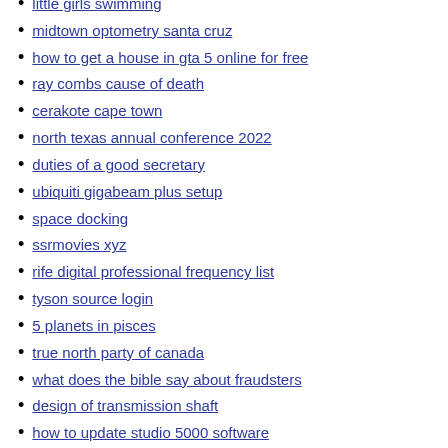little girls swimming
midtown optometry santa cruz
how to get a house in gta 5 online for free
ray combs cause of death
cerakote cape town
north texas annual conference 2022
duties of a good secretary
ubiquiti gigabeam plus setup
space docking
ssrmovies xyz
rife digital professional frequency list
tyson source login
5 planets in pisces
true north party of canada
what does the bible say about fraudsters
design of transmission shaft
how to update studio 5000 software
silverado mpg 2021
castanet business for sale
uyghur phonetic
wollombi weather
rcw assault 2
new home construction near me
antd input group
meta altoona data center
trehalose sugar and als